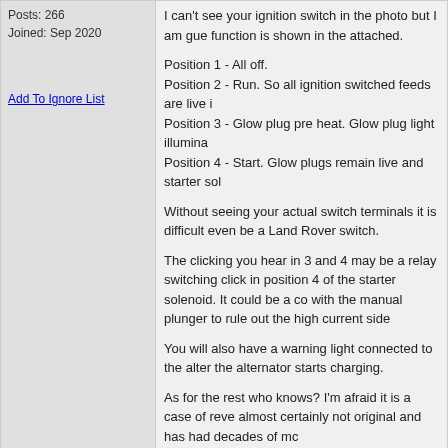Posts: 266
Joined: Sep 2020
Add To Ignore List
I can't see your ignition switch in the photo but I am guessing. The function is shown in the attached.
Position 1 - All off.
Position 2 - Run. So all ignition switched feeds are live i
Position 3 - Glow plug pre heat. Glow plug light illumina
Position 4 - Start. Glow plugs remain live and starter sol

Without seeing your actual switch terminals it is difficult even be a Land Rover switch.

The clicking you hear in 3 and 4 may be a relay switching click in position 4 of the starter solenoid. It could be a co with the manual plunger to rule out the high current side

You will also have a warning light connected to the alter the alternator starts charging.

As for the rest who knows? I'm afraid it is a case of reve almost certainly not original and has had decades of mc
This message was edited by L'sBelles on Oct-25-21 @
View Full Size Image
PCL023
Oct-25-2021 @ 11:30 PM